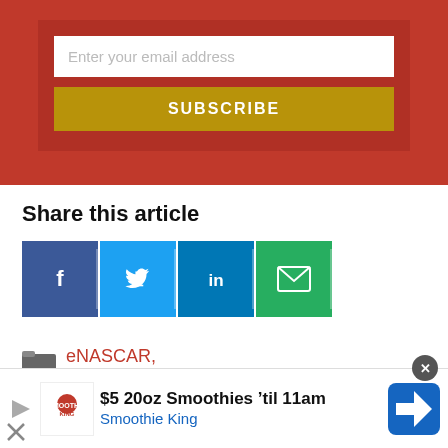[Figure (screenshot): Email subscription form with text input 'Enter your email address' and a gold SUBSCRIBE button on a dark red background]
Share this article
[Figure (infographic): Social share buttons: Facebook (blue), Twitter (light blue), LinkedIn (dark blue), Email (green)]
[Figure (infographic): Folder icon followed by category tag links: eNASCAR, iRacing, Joy]
[Figure (screenshot): Advertisement banner: $5 20oz Smoothies til 11am - Smoothie King]